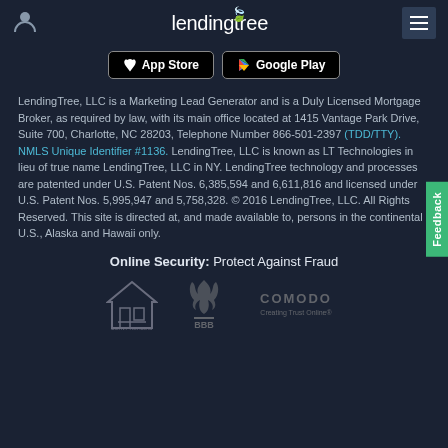LendingTree
[Figure (screenshot): App Store and Google Play download buttons]
LendingTree, LLC is a Marketing Lead Generator and is a Duly Licensed Mortgage Broker, as required by law, with its main office located at 1415 Vantage Park Drive, Suite 700, Charlotte, NC 28203, Telephone Number 866-501-2397 (TDD/TTY). NMLS Unique Identifier #1136. LendingTree, LLC is known as LT Technologies in lieu of true name LendingTree, LLC in NY. LendingTree technology and processes are patented under U.S. Patent Nos. 6,385,594 and 6,611,816 and licensed under U.S. Patent Nos. 5,995,947 and 5,758,328. © 2016 LendingTree, LLC. All Rights Reserved. This site is directed at, and made available to, persons in the continental U.S., Alaska and Hawaii only.
Online Security: Protect Against Fraud
[Figure (logo): Equal Housing Lender, BBB, and Comodo Creating Trust Online trust badges]